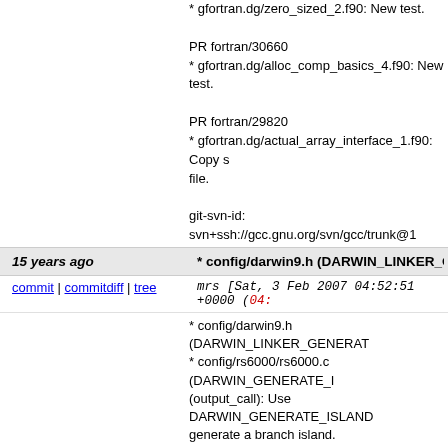* gfortran.dg/zero_sized_2.f90: New test.

PR fortran/30660
* gfortran.dg/alloc_comp_basics_4.f90: New test.

PR fortran/29820
* gfortran.dg/actual_array_interface_1.f90: Copy s file.

git-svn-id: svn+ssh://gcc.gnu.org/svn/gcc/trunk@1
15 years ago    * config/darwin9.h (DARWIN_LINKER_GENERA...
commit | commitdiff | tree    mrs [Sat, 3 Feb 2007 04:52:51 +0000 (04:...
* config/darwin9.h (DARWIN_LINKER_GENERAT...
* config/rs6000/rs6000.c (DARWIN_GENERATE_I...
(output_call): Use DARWIN_GENERATE_ISLAND...
generate a branch island.
Radar 4967371

git-svn-id: svn+ssh://gcc.gnu.org/svn/gcc/trunk@1
15 years ago    * config/xtensa/xtensa.c (smalloffset_mem_p):
commit | commitdiff | tree    bwilson [Sat, 3 Feb 2007 01:23:05 +0000
* config/xtensa/xtensa.c (smalloffset_mem_p): Use (xtensa_legitimate_address_p): New.